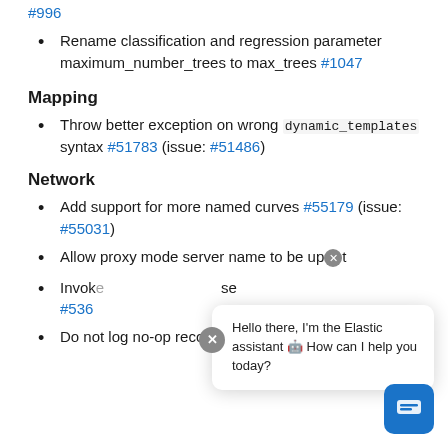#996
Rename classification and regression parameter maximum_number_trees to max_trees #1047
Mapping
Throw better exception on wrong dynamic_templates syntax #51783 (issue: #51486)
Network
Add support for more named curves #55179 (issue: #55031)
Allow proxy mode server name to be up[×]t
Invok[...] se #536[...]
Do not log no-op reconnections at DEBUG